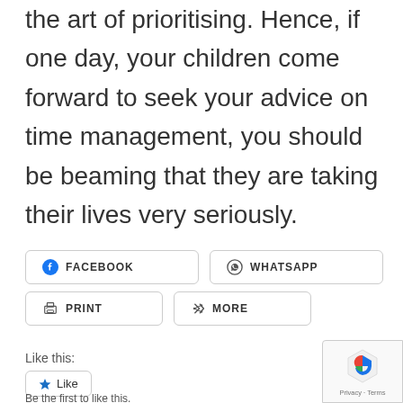the art of prioritising. Hence, if one day, your children come forward to seek your advice on time management, you should be beaming that they are taking their lives very seriously.
[Figure (screenshot): Social share buttons: Facebook, WhatsApp, Print, More]
Like this:
[Figure (screenshot): Like button widget with star icon and 'Like' text]
Be the first to like this.
[Figure (other): reCAPTCHA Privacy Terms badge in bottom right corner]